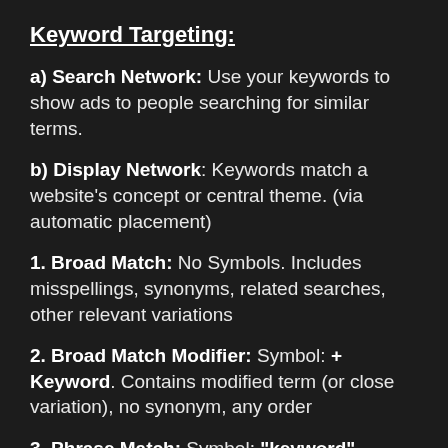Keyword Targeting:
a) Search Network: Use your keywords to show ads to people searching for similar terms.
b) Display Network: Keywords match a website's concept or central theme. (via automatic placement)
1. Broad Match: No Symbols. Includes misspellings, synonyms, related searches, other relevant variations
2. Broad Match Modifier: Symbol: + Keyword. Contains modified term (or close variation), no synonym, any order
3. Phrase Match: Symbol: "keyword". Phrase or close variation